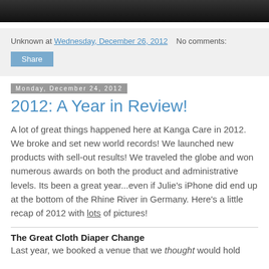[Figure (photo): Dark photo strip at top of page, appears to show people]
Unknown at Wednesday, December 26, 2012   No comments:
Share
Monday, December 24, 2012
2012: A Year in Review!
A lot of great things happened here at Kanga Care in 2012. We broke and set new world records! We launched new products with sell-out results! We traveled the globe and won numerous awards on both the product and administrative levels. Its been a great year...even if Julie's iPhone did end up at the bottom of the Rhine River in Germany. Here's a little recap of 2012 with lots of pictures!
The Great Cloth Diaper Change
Last year, we booked a venue that we thought would hold